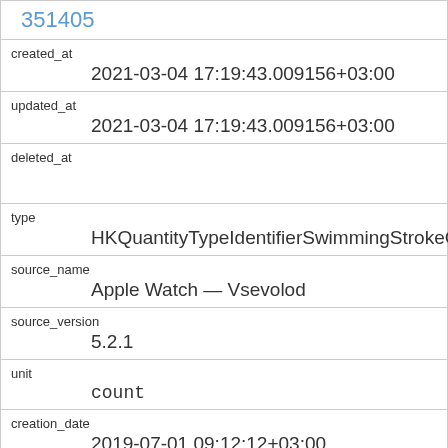351405
created_at
2021-03-04 17:19:43.009156+03:00
updated_at
2021-03-04 17:19:43.009156+03:00
deleted_at
type
HKQuantityTypeIdentifierSwimmingStrokeCount
source_name
Apple Watch — Vsevolod
source_version
5.2.1
unit
count
creation_date
2019-07-01 09:12:12+03:00
start_date
2019-07-01 09:06:06+03:00
end_date
2019-07-01 09:06:42+03:00